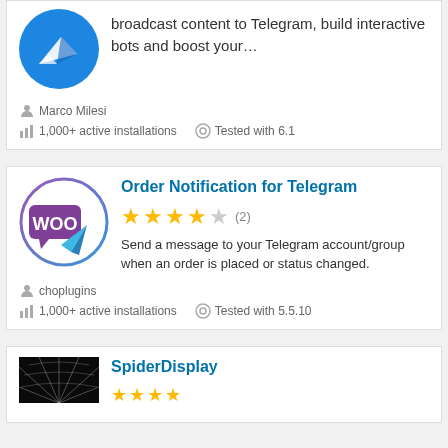[Figure (logo): Telegram plugin logo - blue circle with white paper plane icon (partially visible at top)]
broadcast content to Telegram, build interactive bots and boost your…
Marco Milesi
1,000+ active installations
Tested with 6.1
Order Notification for Telegram
[Figure (other): 4 filled stars and 1 empty star rating with (2) count]
Send a message to your Telegram account/group when an order is placed or status changed.
choplugins
1,000+ active installations
Tested with 5.5.10
SpiderDisplay